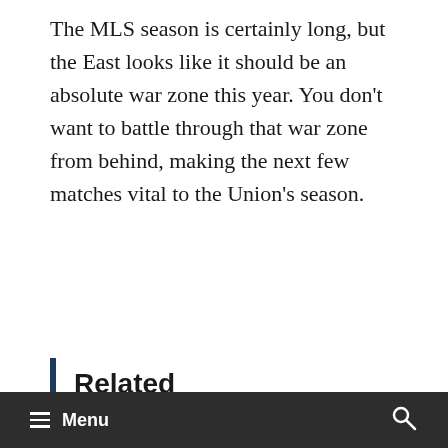The MLS season is certainly long, but the East looks like it should be an absolute war zone this year. You don't want to battle through that war zone from behind, making the next few matches vital to the Union's season.
Related
[Figure (photo): Close-up photo of a soccer player, male, dark curly hair, mouth slightly open, dark background with reddish tones]
≡ Menu  🔍